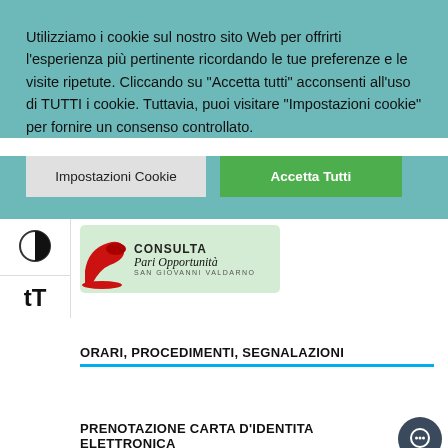Utilizziamo i cookie sul nostro sito Web per offrirti l'esperienza più pertinente ricordando le tue preferenze e le visite ripetute. Cliccando su "Accetta tutti" acconsenti all'uso di TUTTI i cookie. Tuttavia, puoi visitare "Impostazioni cookie" per fornire un consenso controllato.
[Figure (screenshot): Cookie consent banner with two buttons: 'Impostazioni Cookie' (grey) and 'Accetta Tutti' (green)]
[Figure (logo): Consulta Pari Opportunità San Giovanni Valdarno logo with red high heel shoe on light green background]
ORARI, PROCEDIMENTI, SEGNALAZIONI
PRENOTAZIONE CARTA D'IDENTITA ELETTRONICA
[Figure (other): Orange 'Translate »' button bar at the bottom left]